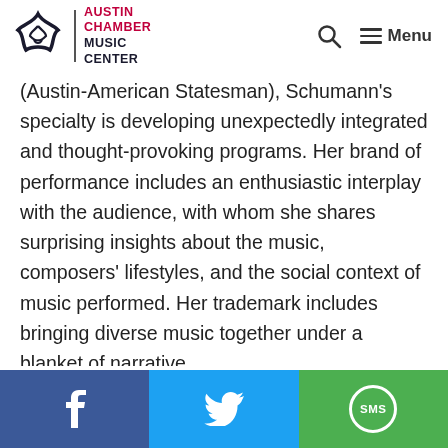Austin Chamber Music Center — Menu
(Austin-American Statesman), Schumann's specialty is developing unexpectedly integrated and thought-provoking programs. Her brand of performance includes an enthusiastic interplay with the audience, with whom she shares surprising insights about the music, composers' lifestyles, and the social context of music performed. Her trademark includes bringing diverse music together under a blanket of narrative
f  [Twitter bird]  SMS